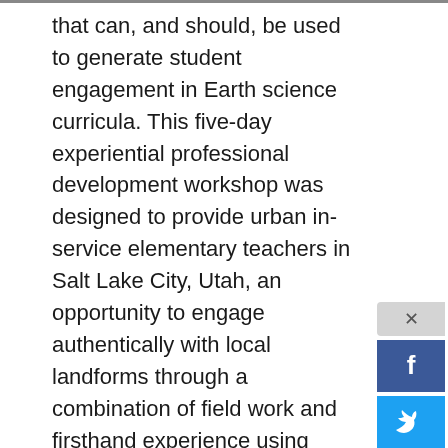that can, and should, be used to generate student engagement in Earth science curricula. This five-day experiential professional development workshop was designed to provide urban in-service elementary teachers in Salt Lake City, Utah, an opportunity to engage authentically with local landforms through a combination of field work and firsthand experience using geoscience research methods. The workshop focused on increasing teachers' awareness of the local geology and fostering an awareness of the accessibility of various sites and landforms for future student interactions. The workshop was held during the summer and teachers meet for 8 hours each day. Content was drawn from local systems and landforms, including: Big Cottonwood Canyon and Little Cottonwood Canyon (river-cut vs. glacier-cut canyon), Lake Bonneville shorelines (depositional environments of paleo-Lake Bonneville), and the formation and distribution of local oolitic sand (conservation of mass and cycling of matter). Throughout the week, teachers conducted field work, recorded observations, interacted with scientists, constructed physical